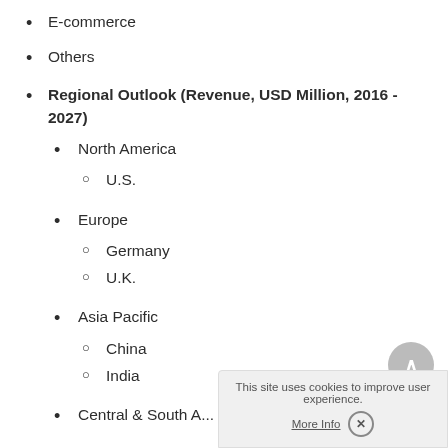E-commerce
Others
Regional Outlook (Revenue, USD Million, 2016 - 2027)
North America
U.S.
Europe
Germany
U.K.
Asia Pacific
China
India
Central & South A...